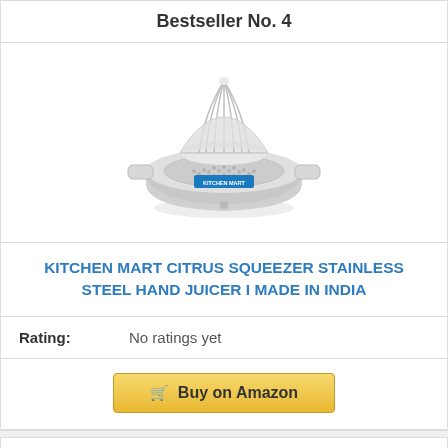Bestseller No. 4
[Figure (photo): Stainless steel citrus squeezer/juicer product photo with Kitchen Mart branding label]
KITCHEN MART CITRUS SQUEEZER STAINLESS STEEL HAND JUICER I MADE IN INDIA
Rating: No ratings yet
Buy on Amazon
Bestseller No. 5